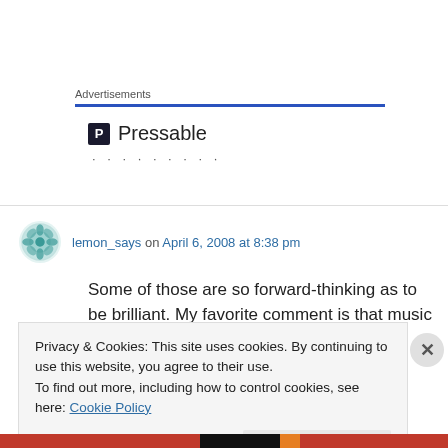Advertisements
[Figure (logo): Pressable logo with icon and dots]
lemon_says on April 6, 2008 at 8:38 pm
Some of those are so forward-thinking as to be brilliant. My favorite comment is that music will
Privacy & Cookies: This site uses cookies. By continuing to use this website, you agree to their use.
To find out more, including how to control cookies, see here: Cookie Policy
Close and accept